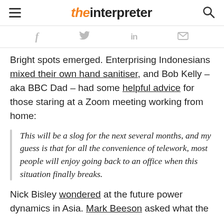the interpreter
[Figure (other): Social sharing icons: Facebook (f), Twitter (bird), LinkedIn (in), Email (envelope)]
Bright spots emerged. Enterprising Indonesians mixed their own hand sanitiser, and Bob Kelly – aka BBC Dad – had some helpful advice for those staring at a Zoom meeting working from home:
This will be a slog for the next several months, and my guess is that for all the convenience of telework, most people will enjoy going back to an office when this situation finally breaks.
Nick Bisley wondered at the future power dynamics in Asia. Mark Beeson asked what the